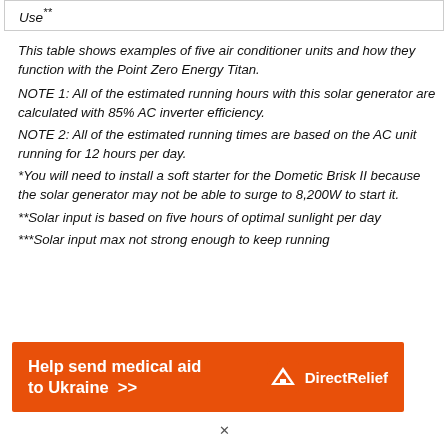| Use** |
| --- |
This table shows examples of five air conditioner units and how they function with the Point Zero Energy Titan. NOTE 1: All of the estimated running hours with this solar generator are calculated with 85% AC inverter efficiency. NOTE 2: All of the estimated running times are based on the AC unit running for 12 hours per day. *You will need to install a soft starter for the Dometic Brisk II because the solar generator may not be able to surge to 8,200W to start it. **Solar input is based on five hours of optimal sunlight per day ***Solar input max not strong enough to keep running
[Figure (other): Orange advertisement banner: Help send medical aid to Ukraine >> with Direct Relief logo]